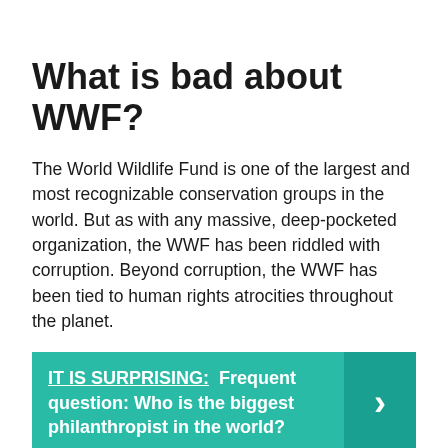What is bad about WWF?
The World Wildlife Fund is one of the largest and most recognizable conservation groups in the world. But as with any massive, deep-pocketed organization, the WWF has been riddled with corruption. Beyond corruption, the WWF has been tied to human rights atrocities throughout the planet.
IT IS SURPRISING: Frequent question: Who is the biggest philanthropist in the world?
Is WWF not for profit?